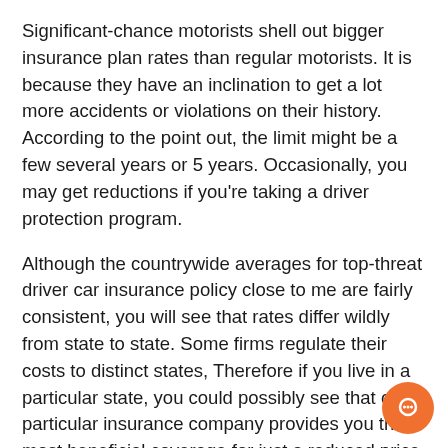Significant-chance motorists shell out bigger insurance plan rates than regular motorists. It is because they have an inclination to get a lot more accidents or violations on their history. According to the point out, the limit might be a few several years or 5 years. Occasionally, you may get reductions if you're taking a driver protection program.
Although the countrywide averages for top-threat driver car insurance policy close to me are fairly consistent, you will see that rates differ wildly from state to state. Some firms regulate their costs to distinct states, Therefore if you live in a particular state, you could possibly see that one particular insurance company provides you the most beneficial coverage for just a reduced price. The cheapest superior-threat driver auto insurance coverage near me originates from Point out Farm, that has a long-standing name for giving outstanding support.
The obvious way to find a large-threat driver motor vehicle insurance policy close to me would be to enter your ZIP code